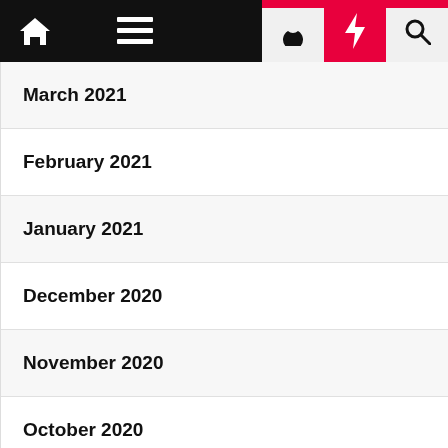Navigation bar with home, menu, moon, bolt, and search icons
March 2021
February 2021
January 2021
December 2020
November 2020
October 2020
September 2020
August 2020
July 2020
June 2020